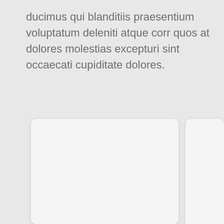ducimus qui blanditiis praesentium voluptatum deleniti atque corr quos at dolores molestias excepturi sint occaecati cupiditate dolores.
[Figure (other): Two white rounded rectangular card panels side by side on a light grey background, both empty/blank.]